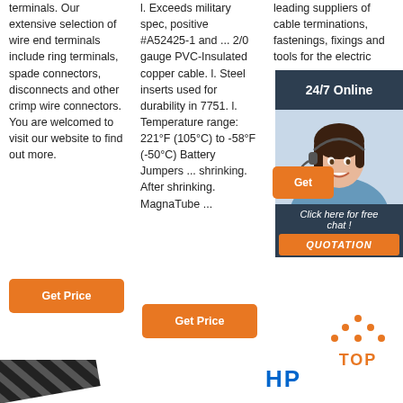terminals. Our extensive selection of wire end terminals include ring terminals, spade connectors, disconnects and other crimp wire connectors. You are welcomed to visit our website to find out more.
l. Exceeds military spec, positive #A52425-1 and ... 2/0 gauge PVC-Insulated copper cable. l. Steel inserts used for durability in 7751. l. Temperature range: 221°F (105°C) to -58°F (-50°C) Battery Jumpers ... shrinking. After shrinking. MagnaTube ...
leading suppliers of cable terminations, fastenings, fixings and tools for the electrical, construction and industrial ...
[Figure (infographic): 24/7 Online banner with customer service agent photo and 'Click here for free chat!' text, QUOTATION button]
[Figure (logo): TOP icon with orange dots above 'TOP' text]
[Figure (logo): HP or company logo bottom right]
[Figure (illustration): Diagonal dark stripes bottom left corner]